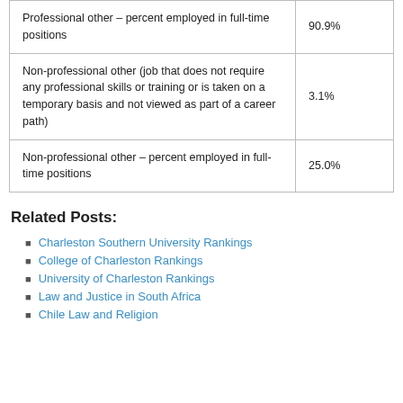| Professional other – percent employed in full-time positions | 90.9% |
| Non-professional other (job that does not require any professional skills or training or is taken on a temporary basis and not viewed as part of a career path) | 3.1% |
| Non-professional other – percent employed in full-time positions | 25.0% |
Related Posts:
Charleston Southern University Rankings
College of Charleston Rankings
University of Charleston Rankings
Law and Justice in South Africa
Chile Law and Religion